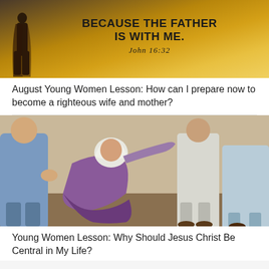[Figure (illustration): Inspirational quote image with silhouette of a person standing in golden/sunset background. Text reads BECAUSE THE FATHER IS WITH ME. John 16:32]
August Young Women Lesson: How can I prepare now to become a righteous wife and mother?
[Figure (illustration): Painting of a woman in purple and white head covering kneeling on the ground and reaching out her hand toward robed figures, a biblical scene.]
Young Women Lesson: Why Should Jesus Christ Be Central in My Life?